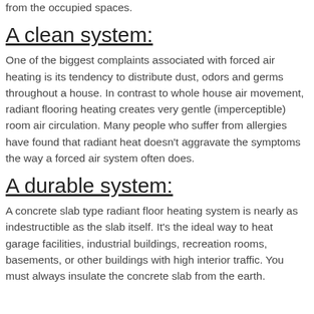from the occupied spaces.
A clean system:
One of the biggest complaints associated with forced air heating is its tendency to distribute dust, odors and germs throughout a house. In contrast to whole house air movement, radiant flooring heating creates very gentle (imperceptible) room air circulation. Many people who suffer from allergies have found that radiant heat doesn't aggravate the symptoms the way a forced air system often does.
A durable system:
A concrete slab type radiant floor heating system is nearly as indestructible as the slab itself. It's the ideal way to heat garage facilities, industrial buildings, recreation rooms, basements, or other buildings with high interior traffic. You must always insulate the concrete slab from the earth.